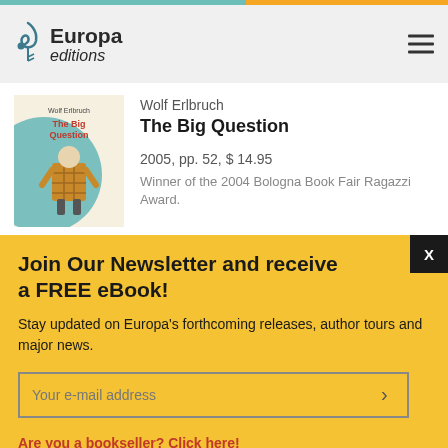[Figure (logo): Europa Editions logo with treble clef icon]
[Figure (illustration): Book cover of The Big Question by Wolf Erlbruch, showing a figure in a plaid coat with blue circular background]
Wolf Erlbruch
The Big Question
2005, pp. 52, $ 14.95
Winner of the 2004 Bologna Book Fair Ragazzi Award.
Join Our Newsletter and receive a FREE eBook!
Stay updated on Europa's forthcoming releases, author tours and major news.
Your e-mail address
Are you a bookseller? Click here!
Are you a librarian? Click here!